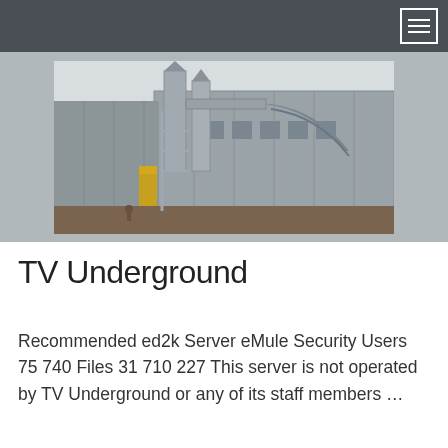[Figure (photo): Industrial facility exterior showing large metal silos, ventilation pipes, ducts, scaffolding structures, and a large corrugated metal building in the background. Overcast sky visible.]
TV Underground
Recommended ed2k Server eMule Security Users 75 740 Files 31 710 227 This server is not operated by TV Underground or any of its staff members …